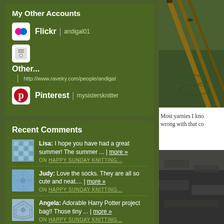My Other Accounts
Flickr | andigal01
Other... | http://www.ravelry.com/people/andigal
Pinterest | mysistersknitter
Recent Comments
Lisa: I hope you have had a great summer! The summer ... more » ON HAPPY SUNDAY KNITTING...
Judy: Love the socks. They are all so cute and neat.... more » ON HAPPY SUNDAY KNITTING...
Angela: Adorable Harry Potter project bag!! Those tiny ... more » ON HAPPY SUNDAY KNITTING...
Most yarnies I kno wrong with that co
[Figure (photo): Close-up photo of knitting needles with green yarn]
[Figure (photo): Dark photo, partially visible, appears to be a knitting or craft related image]